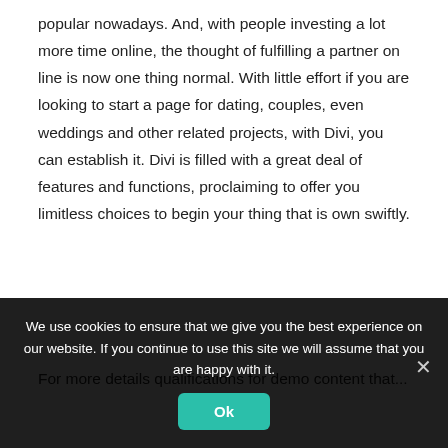popular nowadays. And, with people investing a lot more time online, the thought of fulfilling a partner on line is now one thing normal. With little effort if you are looking to start a page for dating, couples, even weddings and other related projects, with Divi, you can establish it. Divi is filled with a great deal of features and functions, proclaiming to offer you limitless choices to begin your thing that is own swiftly.
For more details qualifications for demo content that...
We use cookies to ensure that we give you the best experience on our website. If you continue to use this site we will assume that you are happy with it.